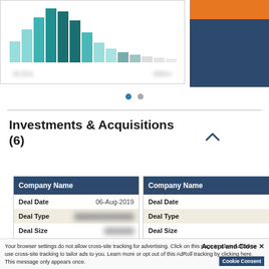[Figure (histogram): Partial histogram chart visible at top of page with teal/dark bars and two x-axis labels (blurred). Right side shows orange and dark blue/navy colored blocks.]
Investments & Acquisitions (6)
| Company Name |  |
| --- | --- |
| Deal Date | 06-Aug-2019 |
| Deal Type | [redacted] |
| Deal Size | [redacted] |
| Industry | Network Management Software |
| Company Name |  |
| --- | --- |
| Deal Date |  |
| Deal Type |  |
| Deal Size |  |
| Industry |  |
Your browser settings do not allow cross-site tracking for advertising. Click on this page to allow AdRoll to use cross-site tracking to tailor ads to you. Learn more or opt out of this AdRoll tracking by clicking here. This message only appears once.